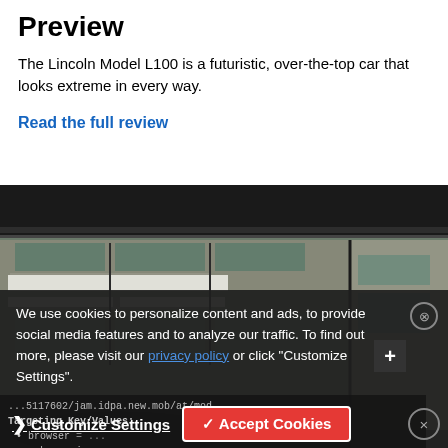Preview
The Lincoln Model L100 is a futuristic, over-the-top car that looks extreme in every way.
Read the full review
[Figure (photo): Exterior photograph of a modern building with dark roof overhang, concrete walls, and large glass windows, with a vehicle visible at the bottom]
We use cookies to personalize content and ads, to provide social media features and to analyze our traffic. To find out more, please visit our privacy policy or click "Customize Settings".
Targeting Key/Values:
• browser = ...
• mak = uni...
• mod = uni/vh
Customize Settings
✓ Accept Cookies